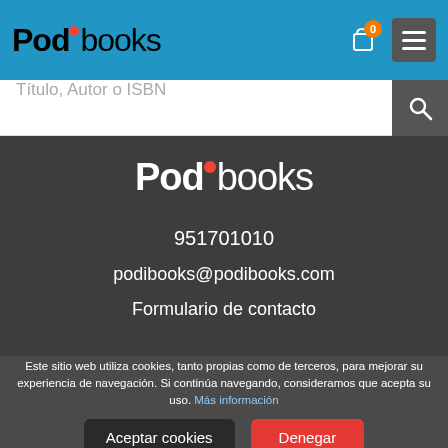Podibooks — navigation header with logo, cart (0), and hamburger menu
Título, Autor o ISBN
[Figure (logo): Podibooks logo in white on dark background]
951701010
podibooks@podibooks.com
Formulario de contacto
Este sitio web utiliza cookies, tanto propias como de terceros, para mejorar su experiencia de navegación. Si continúa navegando, consideramos que acepta su uso. Más información
Aceptar cookies
Denegar